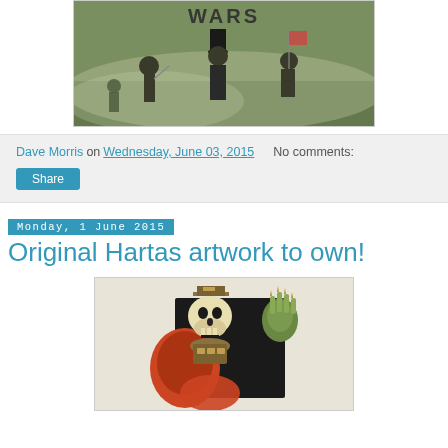[Figure (illustration): Fantasy/historical battle scene showing warriors with weapons and top hats against a foggy background, with title text partially visible at top]
Dave Morris on Wednesday, June 03, 2015   No comments:
Share
Monday, 1 June 2015
Original Hartas artwork to own!
[Figure (illustration): Detailed fantasy illustration showing a skeletal/undead figure with ornate armor, clawed hand raised, against a dark background]